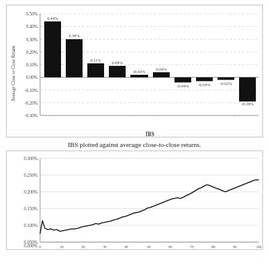[Figure (bar-chart): Average Close to Close Return vs IBS]
IBS plotted against average close-to-close returns.
[Figure (line-chart): Line chart showing cumulative close-to-close returns over time, rising from 0.000% to approximately 0.240%]